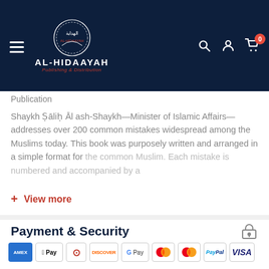[Figure (logo): Al-Hidaayah Publishing & Distribution website header with logo, hamburger menu, and navigation icons (search, account, cart)]
Publication
Shaykh Ṣāliḥ Āl ash-Shaykh—Minister of Islamic Affairs—addresses over 200 common mistakes widespread among the Muslims today. This book was purposely written and arranged in a simple format for the common Muslim. Each mistake is numbered and accompanied by a
+ View more
Payment & Security
[Figure (illustration): Payment method logos: Amex, Apple Pay, Diners, Discover, Google Pay, Mastercard, Mastercard, PayPal, Visa]